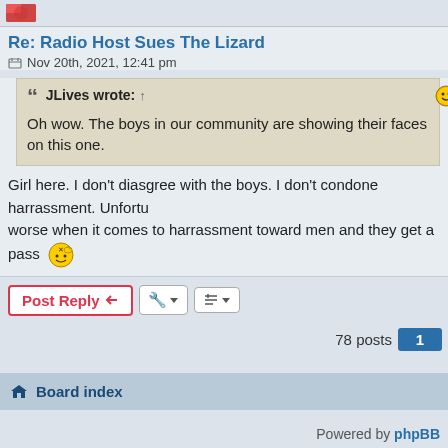[Figure (photo): Small avatar/profile image thumbnail in top left corner]
Re: Radio Host Sues The Lizard
Nov 20th, 2021, 12:41 pm
JLives wrote: ↑
Oh wow. The boys in our community are showing their faces on this one.
Girl here. I don't diasgree with the boys. I don't condone harrassment. Unfortu... worse when it comes to harrassment toward men and they get a pass
Post Reply
78 posts
Board index
Powered by phpBB